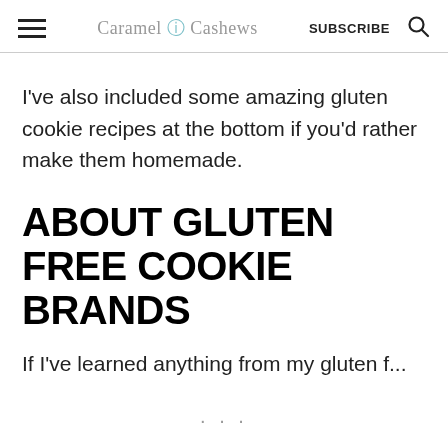Caramel & Cashews  SUBSCRIBE  🔍
I've also included some amazing gluten cookie recipes at the bottom if you'd rather make them homemade.
ABOUT GLUTEN FREE COOKIE BRANDS
If I've learned anything from my gluten f...